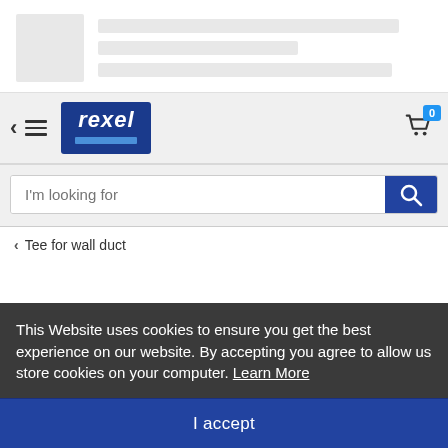[Figure (screenshot): Skeleton loading placeholder with a grey image box and three grey line placeholders next to it]
[Figure (logo): Rexel logo - white italic rexel text on dark blue background with light blue bar underneath, inside navigation bar with back arrow, hamburger menu, and shopping cart with badge showing 0]
I'm looking for
< Tee for wall duct
This Website uses cookies to ensure you get the best experience on our website. By accepting you agree to allow us store cookies on your computer. Learn More
I accept